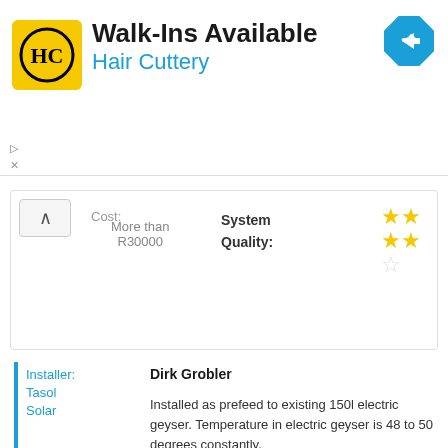[Figure (infographic): Hair Cuttery advertisement banner with yellow HC logo, title 'Walk-Ins Available', subtitle 'Hair Cuttery', and a blue navigation arrow icon]
| Cost: | More than R30000 | System Quality: | ★★★★☆ |
[Figure (logo): Top Three Solar Geyser Company logo with Novasun Review heading]
Installer: Tasol Solar
Dirk Grobler
Installed as prefeed to existing 150l electric geyser. Temperature in electric geyser is 48 to 50 degrees constantly.